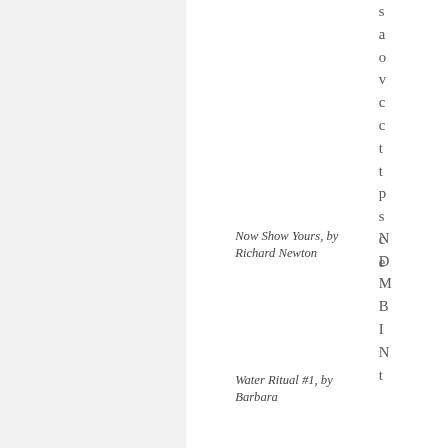[Figure (photo): Large gray/light image panel on the left side of the page]
Now Show Yours, by Richard Newton
s a o v c c t t p s c e
N D M B I N t
Water Ritual #1, by Barbara